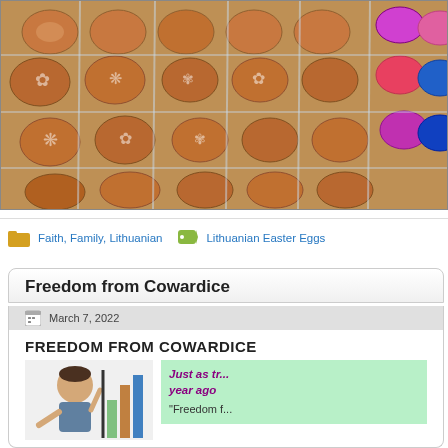[Figure (photo): Photo of decorated Lithuanian Easter eggs in a clear plastic tray, with brown eggs etched with white floral patterns, and colorful eggs visible on the right side]
Faith, Family, Lithuanian    Lithuanian Easter Eggs
Freedom from Cowardice
March 7, 2022
FREEDOM FROM COWARDICE
[Figure (illustration): Cartoon illustration of a person with a green background pull-quote box]
Just as tr... year ago